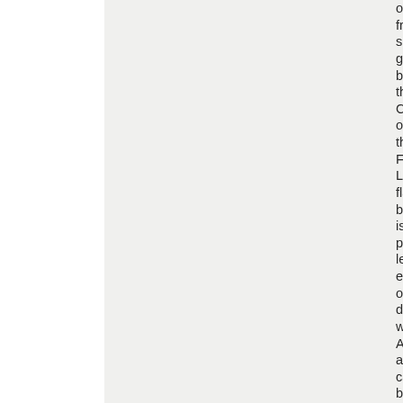of fre spe gua by the Ch of the Fre Lan fla bu is pe leg ex of dis wit An an ca be res